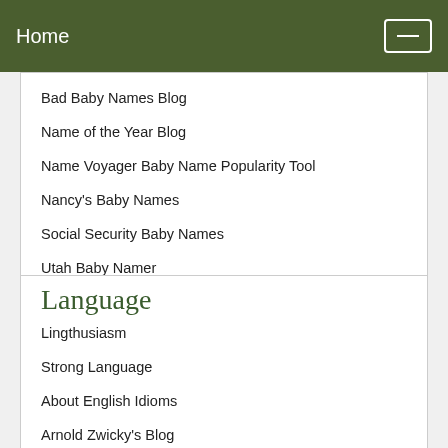Home
Bad Baby Names Blog
Name of the Year Blog
Name Voyager Baby Name Popularity Tool
Nancy's Baby Names
Social Security Baby Names
Utah Baby Namer
Language
Lingthusiasm
Strong Language
About English Idioms
Arnold Zwicky's Blog
Dialect Blog